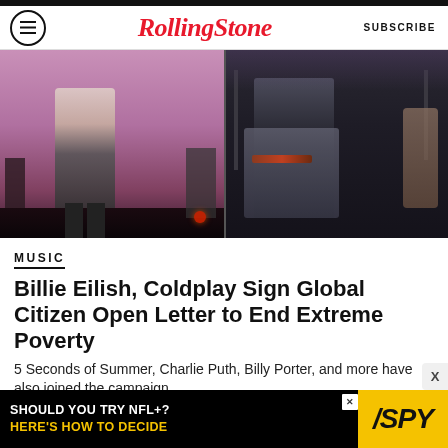RollingStone | SUBSCRIBE
[Figure (photo): Concert performance photos: left side shows a performer on stage with pink/purple lighting wearing a patterned dress; right side shows a male performer playing guitar on a dark stage.]
MUSIC
Billie Eilish, Coldplay Sign Global Citizen Open Letter to End Extreme Poverty
5 Seconds of Summer, Charlie Puth, Billy Porter, and more have also joined the campaign
[Figure (infographic): Advertisement banner: 'SHOULD YOU TRY NFL+? HERE'S HOW TO DECIDE' with SPY logo on yellow background.]